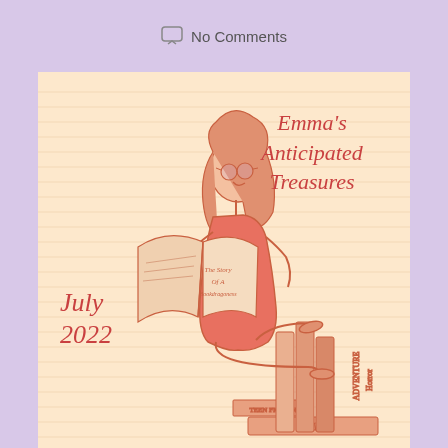No Comments
[Figure (illustration): Cartoon illustration of a girl with glasses and long red hair, wearing a red dress, standing on a stack of books labeled Romance, Adventure, Horror, Teen Fiction, Thriller, reading an open book titled The Story of a Bookdragoness. Text overlay reads Emma's Anticipated Treasures, July 2022.]
Emma's Anticipated Treasures
July
2022